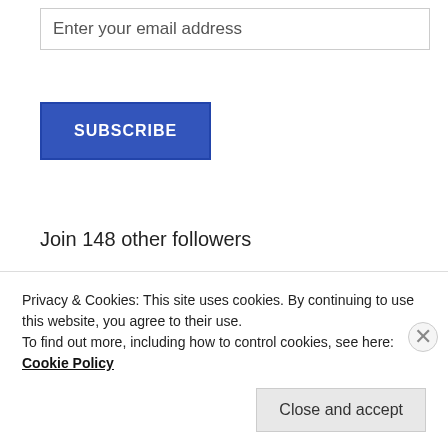Enter your email address
SUBSCRIBE
Join 148 other followers
Email Subscription
Enter your email address to subscribe to this blog
Privacy & Cookies: This site uses cookies. By continuing to use this website, you agree to their use.
To find out more, including how to control cookies, see here:
Cookie Policy
Close and accept